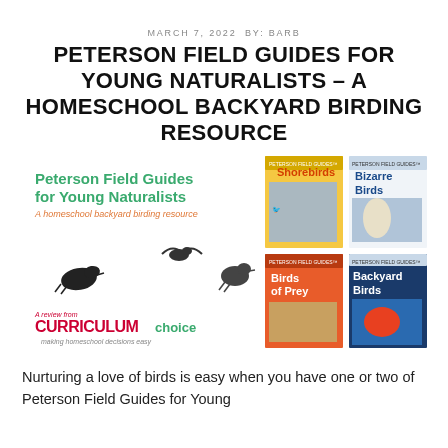MARCH 7, 2022 BY: BARB
PETERSON FIELD GUIDES FOR YOUNG NATURALISTS – A HOMESCHOOL BACKYARD BIRDING RESOURCE
[Figure (photo): Collage image showing Peterson Field Guides for Young Naturalists book covers including Shorebirds, Bizarre Birds, Birds of Prey, and Backyard Birds, alongside bird illustrations and A Review from CurriculumChoice logo.]
Nurturing a love of birds is easy when you have one or two of Peterson Field Guides for Young